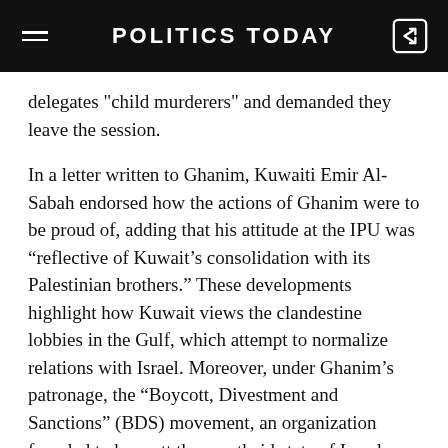POLITICS TODAY
delegates "child murderers" and demanded they leave the session.
In a letter written to Ghanim, Kuwaiti Emir Al-Sabah endorsed how the actions of Ghanim were to be proud of, adding that his attitude at the IPU was “reflective of Kuwait’s consolidation with its Palestinian brothers.” These developments highlight how Kuwait views the clandestine lobbies in the Gulf, which attempt to normalize relations with Israel. Moreover, under Ghanim’s patronage, the “Boycott, Divestment and Sanctions” (BDS) movement, an organization founded to boycott the apartheid state of Israel, organized its first regional Anti-Normalization Conference in Kuwait.
Attempting to normalize relations with Israel through